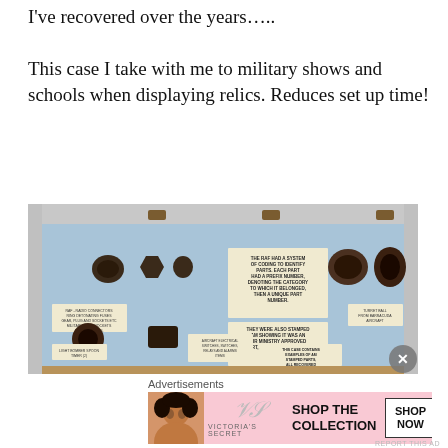I've recovered over the years…..
This case I take with me to military shows and schools when displaying relics. Reduces set up time!
[Figure (photo): Open aluminium display case with blue foam interior showing various dark metal military aircraft parts (buttons, fuses, components) recovered from RAF bases around the UK, with small printed information cards inside the case]
Advertisements
[Figure (photo): Victoria's Secret advertisement banner showing 'SHOP THE COLLECTION' with SHOP NOW button]